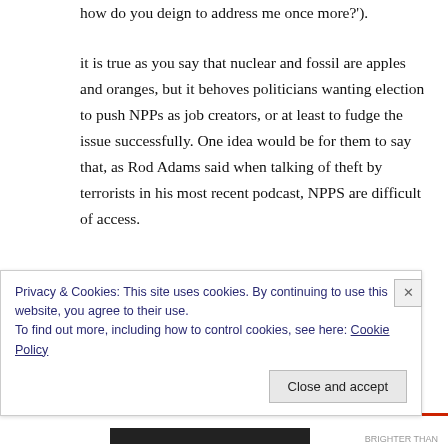how do you deign to address me once more?').
it is true as you say that nuclear and fossil are apples and oranges, but it behoves politicians wanting election to push NPPs as job creators, or at least to fudge the issue successfully. One idea would be for them to say that, as Rod Adams said when talking of theft by terrorists in his most recent podcast, NPPS are difficult of access.
So that would imply many paid security staff per
Privacy & Cookies: This site uses cookies. By continuing to use this website, you agree to their use.
To find out more, including how to control cookies, see here: Cookie Policy